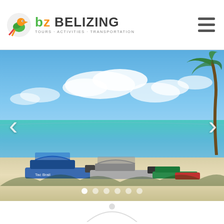[Figure (logo): Belizing logo with colorful parrot/toucan icon, text BELIZING in mixed colors, tagline TOURS · ACTIVITIES · TRANSPORTATION]
[Figure (photo): Beach scene in Belize with several boats docked on white sandy shore, turquoise Caribbean sea, blue sky with clouds, palm trees on right. Navigation arrows (< >) visible on left and right sides. Carousel navigation dots at bottom.]